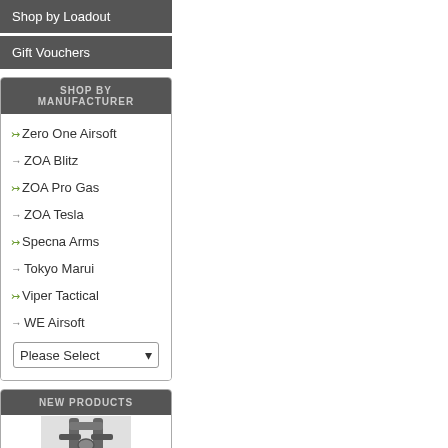Shop by Loadout
Gift Vouchers
SHOP BY MANUFACTURER
Zero One Airsoft
ZOA Blitz
ZOA Pro Gas
ZOA Tesla
Specna Arms
Tokyo Marui
Viper Tactical
WE Airsoft
Please Select
NEW PRODUCTS
[Figure (photo): Product image of a tactical sling or harness in gray/dark color]